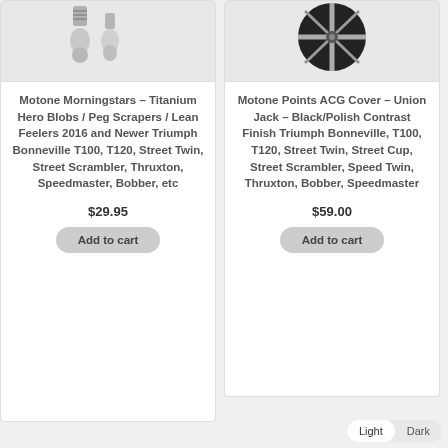[Figure (photo): Product photo of Motone Morningstars titanium peg scrapers - two metallic bolt-like components on light background]
Motone Morningstars – Titanium Hero Blobs / Peg Scrapers / Lean Feelers 2016 and Newer Triumph Bonneville T100, T120, Street Twin, Street Scrambler, Thruxton, Speedmaster, Bobber, etc
$29.95
Add to cart
[Figure (photo): Product photo of Motone Points ACG Cover with Union Jack design in black and silver on light background]
Motone Points ACG Cover – Union Jack – Black/Polish Contrast Finish Triumph Bonneville, T100, T120, Street Twin, Street Cup, Street Scrambler, Speed Twin, Thruxton, Bobber, Speedmaster
$59.00
Add to cart